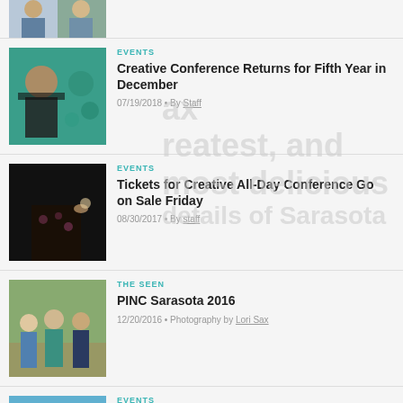[Figure (photo): Partial top image of two people in denim jackets]
[Figure (photo): Portrait of a woman with streaked hair against teal background]
EVENTS
Creative Conference Returns for Fifth Year in December
07/19/2018 • By Staff
[Figure (photo): Woman in floral top against dark background holding a flower]
EVENTS
Tickets for Creative All-Day Conference Go on Sale Friday
08/30/2017 • By staff
[Figure (photo): Three people posing outdoors at an event]
THE SEEN
PINC Sarasota 2016
12/20/2016 • Photography by Lori Sax
[Figure (photo): Person next to a car outdoors]
EVENTS
Creativity Conference Returns Next Week
12/01/2016 • Research by staff